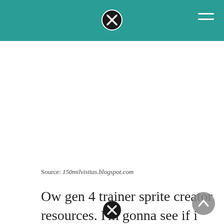[Figure (screenshot): White empty content area below teal header bar]
Source: 150milvisitas.blogspot.com
Ow gen 4 trainer sprite creator resources. I'm gonna see if i can make some trainers in the